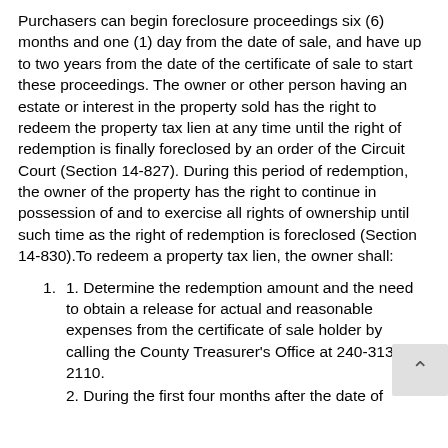Purchasers can begin foreclosure proceedings six (6) months and one (1) day from the date of sale, and have up to two years from the date of the certificate of sale to start these proceedings. The owner or other person having an estate or interest in the property sold has the right to redeem the property tax lien at any time until the right of redemption is finally foreclosed by an order of the Circuit Court (Section 14-827). During this period of redemption, the owner of the property has the right to continue in possession of and to exercise all rights of ownership until such time as the right of redemption is foreclosed (Section 14-830).To redeem a property tax lien, the owner shall:
1. Determine the redemption amount and the need to obtain a release for actual and reasonable expenses from the certificate of sale holder by calling the County Treasurer's Office at 240-313-2110.
2. During the first four months after the date of